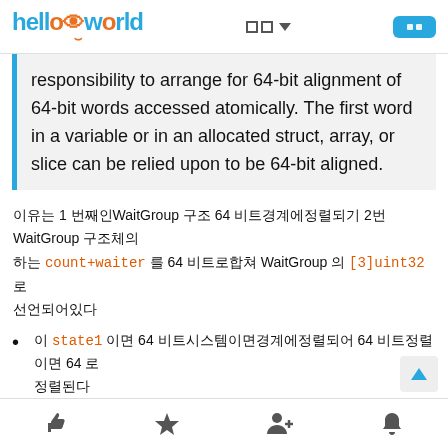helloworld header with logo and navigation
responsibility to arrange for 64-bit alignment of 64-bit words accessed atomically. The first word in a variable or in an allocated struct, array, or slice can be relied upon to be 64-bit aligned.
이유는 1 번째인WaitGroup 구조 64 비트경계에정렬되기 2번WaitGroup 구조체의 count+waiter 를 64 비트로합쳐 WaitGroup 의 [3]uint32 로 선언되어있다
이 state1 이면 64 비트시스템이면경계에정렬되어 64 비트정렬이면 64 로 정렬된다
이 state1 이면 32 비트시스템이면 1 번째로 padding으로 state1 의에 uint32 로정렬되어있는다 32 비트시스템이라면
Footer navigation icons: like, star, person, bell